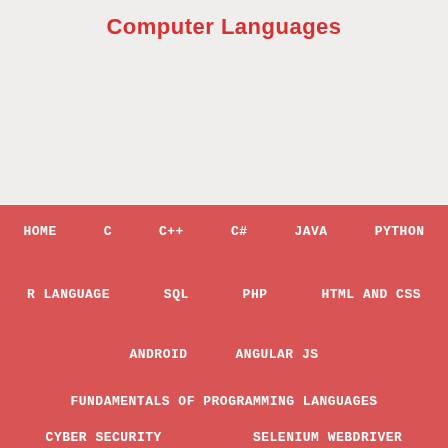Computer Languages
HOME
C
C++
C#
JAVA
PYTHON
R LANGUAGE
SQL
PHP
HTML AND CSS
ANDROID
ANGULAR JS
FUNDAMENTALS OF PROGRAMMING LANGUAGES
CYBER SECURITY
SELENIUM WEBDRIVER